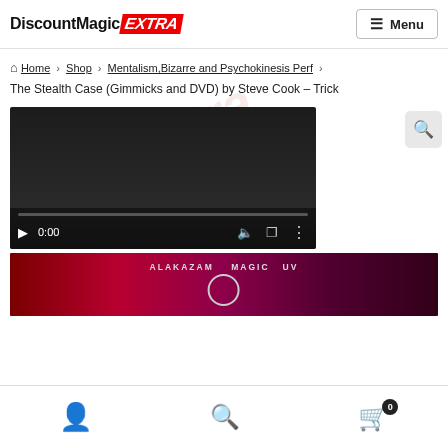DiscountMagic EXTRA — Menu
Home › Shop › Mentalism,Bizarre and Psychokinesis Perf › The Stealth Case (Gimmicks and DVD) by Steve Cook – Trick
[Figure (screenshot): Embedded video player showing a dark background with playback controls: play button, 0:00 time display, volume, fullscreen, and more options icons. A progress bar is shown at the bottom.]
[Figure (photo): Product image showing 'ALAKAZAM MAGIC' text with a logo on a dark red/magenta stage background.]